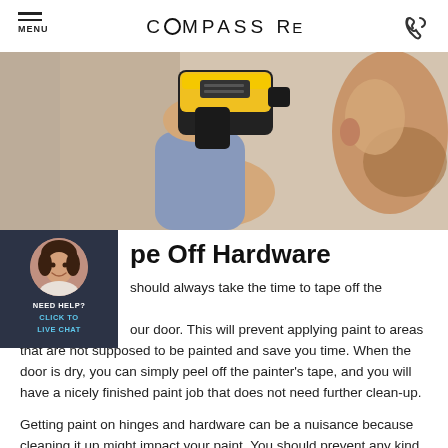COMPASS RE
[Figure (photo): Person holding a yellow and black power drill or paint sprayer tool against a wall, close-up shot]
Tape Off Hardware
You should always take the time to tape off the hardware on your door. This will prevent applying paint to areas that are not supposed to be painted and save you time. When the door is dry, you can simply peel off the painter's tape, and you will have a nicely finished paint job that does not need further clean-up.
Getting paint on hinges and hardware can be a nuisance because cleaning it up might impact your paint. You should prevent any kind of actions that require paint